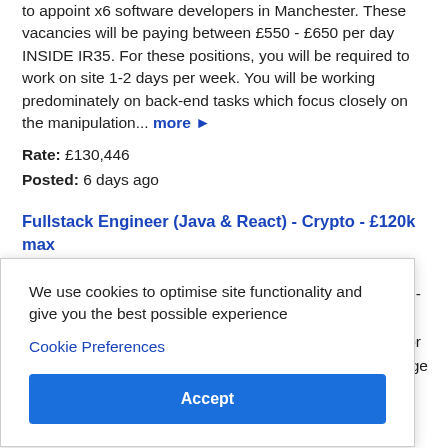to appoint x6 software developers in Manchester. These vacancies will be paying between £550 - £650 per day INSIDE IR35. For these positions, you will be required to work on site 1-2 days per week. You will be working predominately on back-end tasks which focus closely on the manipulation... more ►
Rate: £130,446
Posted: 6 days ago
Fullstack Engineer (Java & React) - Crypto - £120k max
We use cookies to optimise site functionality and give you the best possible experience
Cookie Preferences
Accept